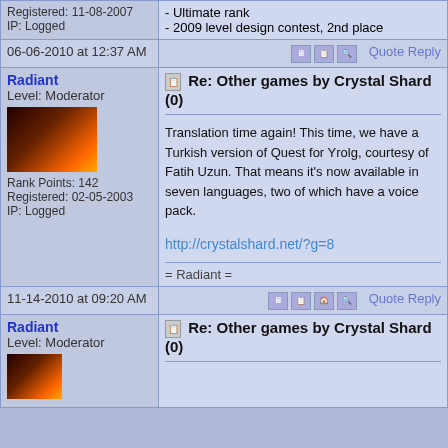Registered: 11-08-2007
IP: Logged
- Ultimate rank
- 2009 level design contest, 2nd place
06-06-2010 at 12:37 AM
Quote Reply
Radiant
Level: Moderator
Rank Points: 142
Registered: 02-05-2003
IP: Logged
Re: Other games by Crystal Shard (0)
Translation time again! This time, we have a Turkish version of Quest for Yrolg, courtesy of Fatih Uzun. That means it's now available in seven languages, two of which have a voice pack.
http://crystalshard.net/?g=8
= Radiant =
11-14-2010 at 09:20 AM
Quote Reply
Radiant
Level: Moderator
Re: Other games by Crystal Shard (0)